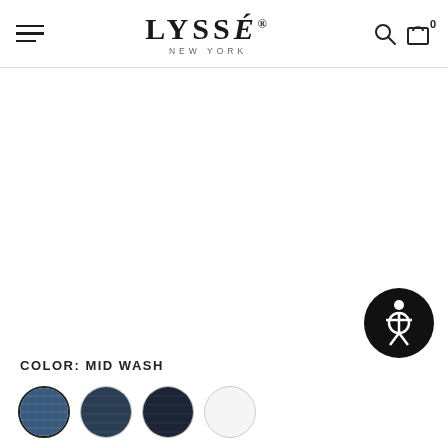LYSSÉ NEW YORK — navigation header with hamburger menu, logo, search and cart icons
COLOR: MID WASH
[Figure (other): Four color swatches: mid wash denim (selected, blue/dark), dark denim, dark navy, and white/light swatch]